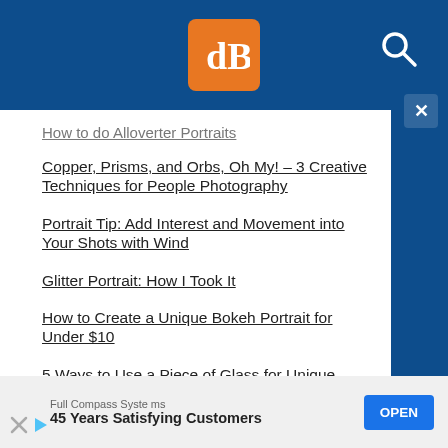dPS logo and search icon header bar
How to do Alloverter Portraits
Copper, Prisms, and Orbs, Oh My! – 3 Creative Techniques for People Photography
Portrait Tip: Add Interest and Movement into Your Shots with Wind
Glitter Portrait: How I Took It
How to Create a Unique Bokeh Portrait for Under $10
5 Ways to Use a Piece of Glass for Unique Portraits [video]
Room with a View: How to Create this Window
Full Compass Systems
45 Years Satisfying Customers
OPEN